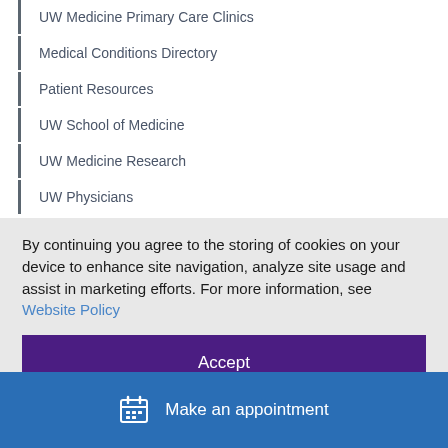UW Medicine Primary Care Clinics
Medical Conditions Directory
Patient Resources
UW School of Medicine
UW Medicine Research
UW Physicians
By continuing you agree to the storing of cookies on your device to enhance site navigation, analyze site usage and assist in marketing efforts. For more information, see Website Policy
Accept
Make an appointment